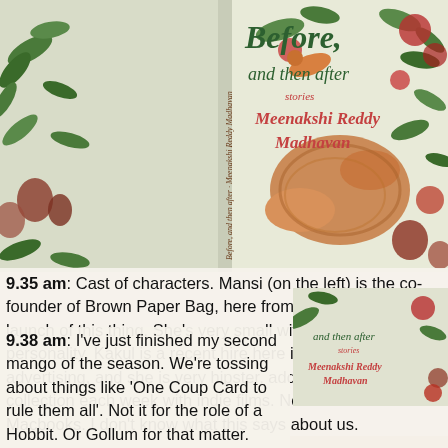[Figure (illustration): Book cover illustration for 'Before, and then after' by Meenakshi Reddy Madhavan, showing botanical watercolor art with flowers, leaves, and a snake. Spine text visible on left side.]
9.35 am: Cast of characters. Mansi (on the left) is the co-founder of Brown Paper Bag, here from Bombay for the launch of this thing. She's very small with a very big personality. Kakul is a recent hire here in Delhi, fresh from advertising, and she is very hipster, adding to my movie collection each week with indie films. Note: we all have Macbooks. I don't know what this says about us.
[Figure (illustration): Second copy of the same book cover partially visible at bottom right.]
9.38 am: I've just finished my second mango of the season. We're tossing about things like 'One Coup Card to rule them all'. Not it for the role of a Hobbit. Or Gollum for that matter.